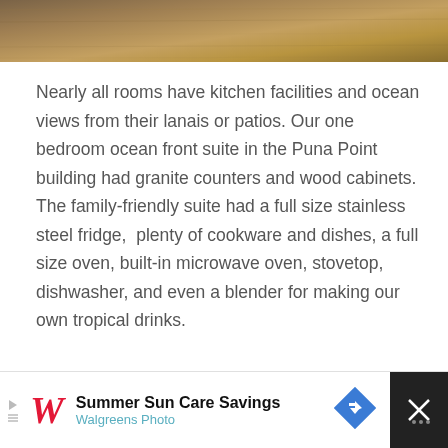[Figure (photo): Partial photo at top of page showing a textured brown/tan surface (possibly wood grain or fabric), cropped.]
Nearly all rooms have kitchen facilities and ocean views from their lanais or patios. Our one bedroom ocean front suite in the Puna Point building had granite counters and wood cabinets. The family-friendly suite had a full size stainless steel fridge,  plenty of cookware and dishes, a full size oven, built-in microwave oven, stovetop, dishwasher, and even a blender for making our own tropical drinks.
Epicurean Hotel, Autograph Collection, Tampa Florida
[Figure (screenshot): Advertisement banner for Walgreens Photo: Summer Sun Care Savings with Walgreens Photo logo, navigation arrow icon, and close button area.]